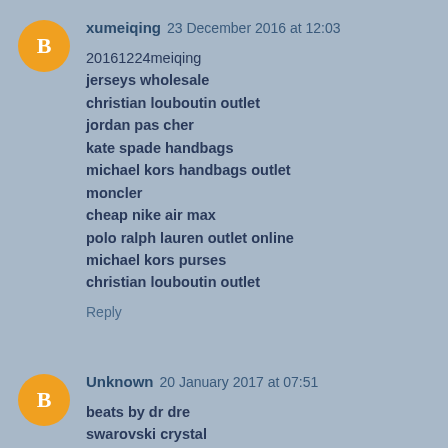xumeiqing 23 December 2016 at 12:03
20161224meiqing
jerseys wholesale
christian louboutin outlet
jordan pas cher
kate spade handbags
michael kors handbags outlet
moncler
cheap nike air max
polo ralph lauren outlet online
michael kors purses
christian louboutin outlet
Reply
Unknown 20 January 2017 at 07:51
beats by dr dre
swarovski crystal
michael kors handbags
oakley sunglasses wholesale